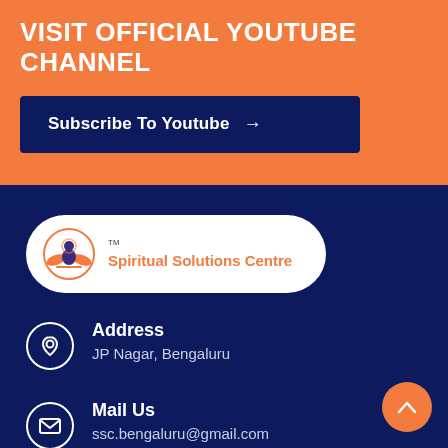VISIT OFFICIAL YOUTUBE CHANNEL
Subscribe To Youtube →
[Figure (logo): Spiritual Solutions Centre logo with TM mark, orange and navy meditation figure icon on white rounded pill background]
Address
JP Nagar, Bengaluru
Mail Us
ssc.bengaluru@gmail.com